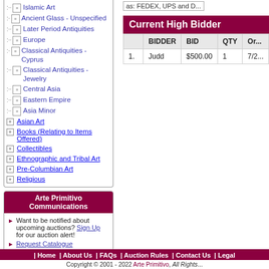Islamic Art
Ancient Glass - Unspecified
Later Period Antiquities
Europe
Classical Antiquities - Cyprus
Classical Antiquities - Jewelry
Central Asia
Eastern Empire
Asia Minor
Asian Art
Books (Relating to Items Offered)
Collectibles
Ethnographic and Tribal Art
Pre-Columbian Art
Religious
Arte Primitivo Communications
Want to be notified about upcoming auctions? Sign Up for our auction alert!
Request Catalogue
E-mail Us
Suggestion Box
as: FEDEX, UPS and D...
Current High Bidder
|  | BIDDER | BID | QTY | Or... |
| --- | --- | --- | --- | --- |
| 1. | Judd | $500.00 | 1 | 7/2... |
| Home | About Us | FAQs | Auction Rules | Contact Us | Legal
Copyright © 2001 - 2022 Arte Primitivo, All Rights...